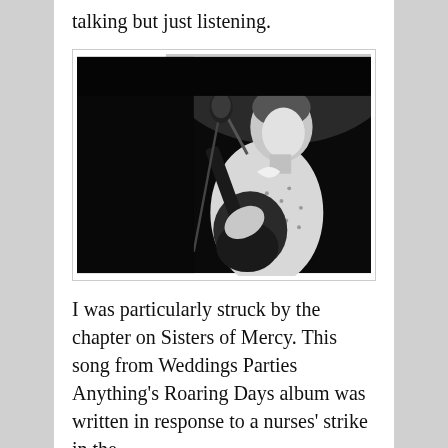talking but just listening.
[Figure (photo): Black and white photo of a man playing guitar and singing into a microphone on stage, wearing a patterned button-up shirt.]
I was particularly struck by the chapter on Sisters of Mercy. This song from Weddings Parties Anything's Roaring Days album was written in response to a nurses' strike in the